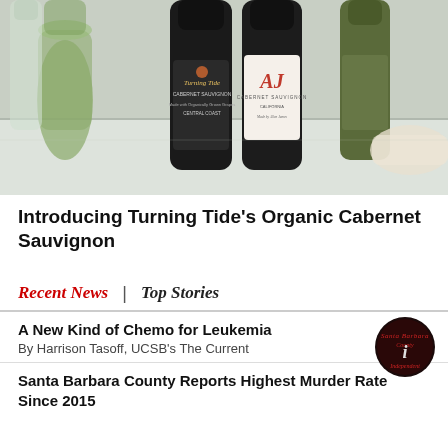[Figure (photo): Photo of wine bottles on a table including Turning Tide Cabernet Sauvignon (Central Coast, made with organically grown grapes) and AJ Cabernet Sauvignon (California), with glasses and a bowl in the background]
Introducing Turning Tide's Organic Cabernet Sauvignon
Recent News | Top Stories
A New Kind of Chemo for Leukemia
By Harrison Tasoff, UCSB's The Current
Santa Barbara County Reports Highest Murder Rate Since 2015